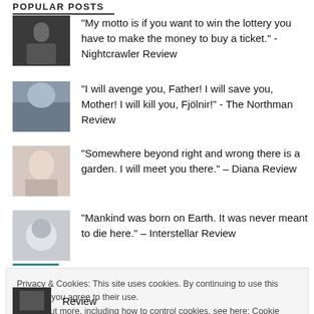POPULAR POSTS
"My motto is if you want to win the lottery you have to make the money to buy a ticket." - Nightcrawler Review
"I will avenge you, Father! I will save you, Mother! I will kill you, Fjölnir!" - The Northman Review
"Somewhere beyond right and wrong there is a garden. I will meet you there." – Diana Review
"Mankind was born on Earth. It was never meant to die here." – Interstellar Review
Privacy & Cookies: This site uses cookies. By continuing to use this website, you agree to their use.
To find out more, including how to control cookies, see here: Cookie Policy
Close and accept
Review